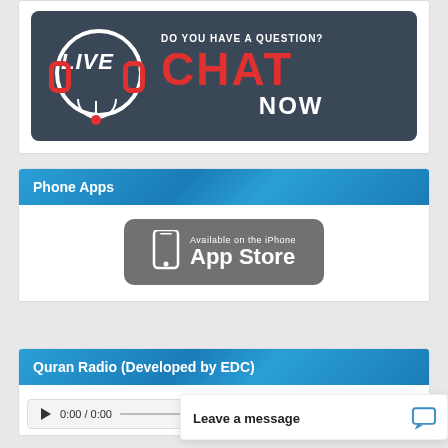[Figure (infographic): Live Chat banner with headphone icon, text 'DO YOU HAVE A QUESTION? CHAT NOW' on dark blue-grey background]
Phone Apps
[Figure (logo): Available on the iPhone App Store badge with phone icon on grey rounded rectangle]
Quran Radio (Developed by EDC)
[Figure (screenshot): Audio player showing play button and time 0:00 / 0:00]
Leave a message